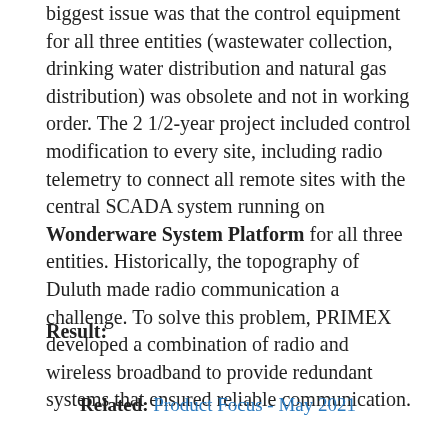biggest issue was that the control equipment for all three entities (wastewater collection, drinking water distribution and natural gas distribution) was obsolete and not in working order. The 2 1/2-year project included control modification to every site, including radio telemetry to connect all remote sites with the central SCADA system running on Wonderware System Platform for all three entities. Historically, the topography of Duluth made radio communication a challenge. To solve this problem, PRIMEX developed a combination of radio and wireless broadband to provide redundant systems that ensured reliable communication.
Result:
Related: Product Focus - May 2021